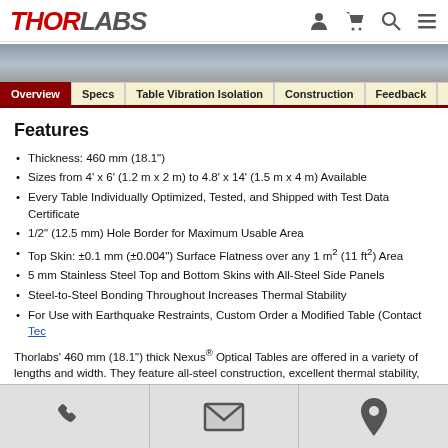THORLABS — navigation header with icons
[Figure (photo): Banner/hero image area — gray gradient banner]
Overview | Specs | Table Vibration Isolation | Construction | Feedback | Ne
Features
Thickness: 460 mm (18.1")
Sizes from 4' x 6' (1.2 m x 2 m) to 4.8' x 14' (1.5 m x 4 m) Available
Every Table Individually Optimized, Tested, and Shipped with Test Data Certificate
1/2" (12.5 mm) Hole Border for Maximum Usable Area
Top Skin: ±0.1 mm (±0.004") Surface Flatness over any 1 m² (11 ft²) Area
5 mm Stainless Steel Top and Bottom Skins with All-Steel Side Panels
Steel-to-Steel Bonding Throughout Increases Thermal Stability
For Use with Earthquake Restraints, Custom Order a Modified Table (Contact Tec
Thorlabs' 460 mm (18.1") thick Nexus® Optical Tables are offered in a variety of lengths and widths. They feature all-steel construction, excellent thermal stability, and broadband damping optimized for bottom skins have a matte finish and the top skin is precision-machined with a surface flatness of ± mounting holes on 1" (25 mm) centers with a 1/2" (12.5 mm) border at the edge of the table.
Popular imperial and metric table sizes are stocked in our US and UK warehouses, respectively, for shipment. Other sizes listed below are built to order with a typical lead time of 4 – 6 weeks. Custo
Footer icons: phone, email, location